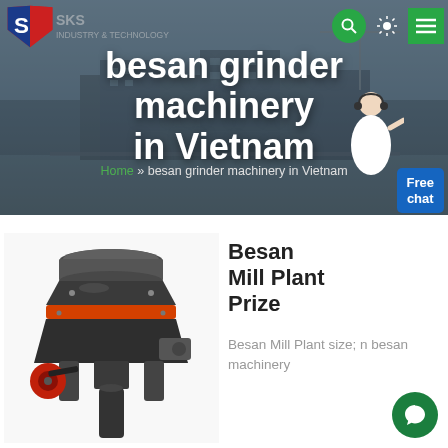[Figure (screenshot): Website header banner with industrial building background, SKS logo, navigation icons (search, sun/theme, hamburger menu), large white bold title 'besan grinder machinery in Vietnam', breadcrumb navigation, customer service representative figure, and Free chat button]
besan grinder machinery in Vietnam
Home » besan grinder machinery in Vietnam
[Figure (photo): Industrial cone crusher / grinder machine, dark grey/black body with orange/red accent stripe, viewed from front-left angle]
Besan Mill Plant Prize
Besan Mill Plant size; besan machinery